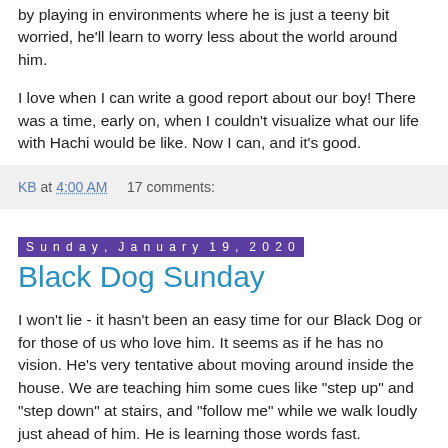by playing in environments where he is just a teeny bit worried, he'll learn to worry less about the world around him.
I love when I can write a good report about our boy! There was a time, early on, when I couldn't visualize what our life with Hachi would be like. Now I can, and it's good.
KB at 4:00 AM    17 comments:
Sunday, January 19, 2020
Black Dog Sunday
I won't lie - it hasn't been an easy time for our Black Dog or for those of us who love him. It seems as if he has no vision. He's very tentative about moving around inside the house. We are teaching him some cues like "step up" and "step down" at stairs, and "follow me" while we walk loudly just ahead of him. He is learning those words fast.
We still find him stuck in corners of the house, which breaks